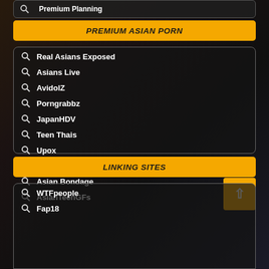Premium Planning
PREMIUM ASIAN PORN
Real Asians Exposed
Asians Live
AvidolZ
Porngrabbz
JapanHDV
Teen Thais
Upox
My Cute Asian
Asian Bondage
AsianTeenGFs
LINKING SITES
WTFpeople
Fap18